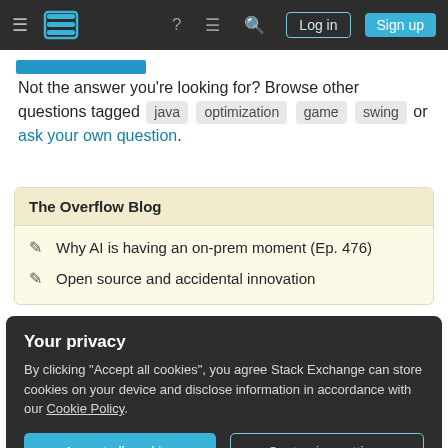Stack Exchange navigation bar with hamburger menu, logo, help, chat, search icons, Log in and Sign up buttons
Not the answer you're looking for? Browse other questions tagged java optimization game swing or ask your own question.
The Overflow Blog
Why AI is having an on-prem moment (Ep. 476)
Open source and accidental innovation
Your privacy
By clicking "Accept all cookies", you agree Stack Exchange can store cookies on your device and disclose information in accordance with our Cookie Policy.
Accept all cookies   Customize settings